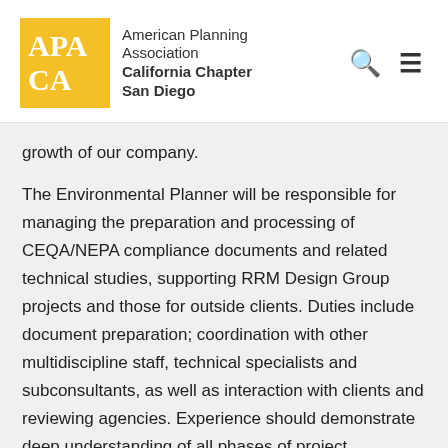[Figure (logo): APA CA logo - yellow/gold square with APA CA text in white serif font, next to American Planning Association California Chapter San Diego text]
growth of our company.
The Environmental Planner will be responsible for managing the preparation and processing of CEQA/NEPA compliance documents and related technical studies, supporting RRM Design Group projects and those for outside clients. Duties include document preparation; coordination with other multidiscipline staff, technical specialists and subconsultants, as well as interaction with clients and reviewing agencies. Experience should demonstrate deep understanding of all phases of project development, environmental review, and permitting. Must also from be responsible the best that